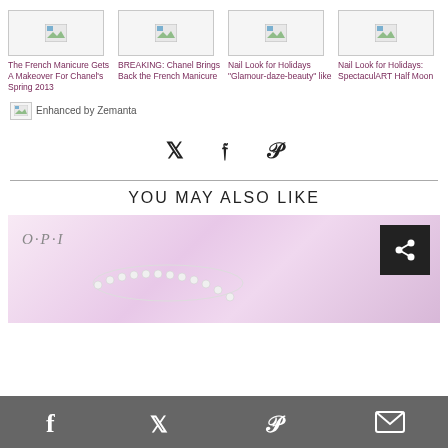[Figure (screenshot): Thumbnail image placeholder for 'The French Manicure Gets A Makeover For Chanel's Spring 2013']
The French Manicure Gets A Makeover For Chanel's Spring 2013
[Figure (screenshot): Thumbnail image placeholder for 'BREAKING: Chanel Brings Back the French Manicure']
BREAKING: Chanel Brings Back the French Manicure
[Figure (screenshot): Thumbnail image placeholder for 'Nail Look for Holidays "Glamour-daze-beauty" like']
Nail Look for Holidays "Glamour-daze-beauty" like
[Figure (screenshot): Thumbnail image placeholder for 'Nail Look for Holidays: SpectaculART Half Moon']
Nail Look for Holidays: SpectaculART Half Moon
[Figure (logo): Enhanced by Zemanta logo with small image icon]
Enhanced by Zemanta
[Figure (infographic): Social share icons: Twitter, Facebook, Pinterest]
YOU MAY ALSO LIKE
[Figure (photo): Pink/lavender fabric background with pearl necklace and OPI logo, with a share button overlay]
Facebook  Twitter  Pinterest  Email share icons